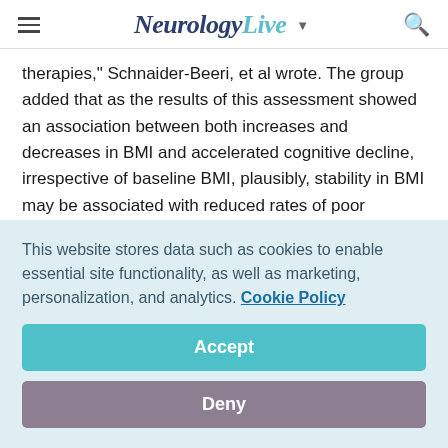NeurologyLive
therapies," Schnaider-Beeri, et al wrote. The group added that as the results of this assessment showed an association between both increases and decreases in BMI and accelerated cognitive decline, irrespective of baseline BMI, plausibly, stability in BMI may be associated with reduced rates of poor cognitive outcomes.
Investigators repeated analyses to understand whether the pattern of association of greater BMI over time with faster...
This website stores data such as cookies to enable essential site functionality, as well as marketing, personalization, and analytics. Cookie Policy
Accept
Deny